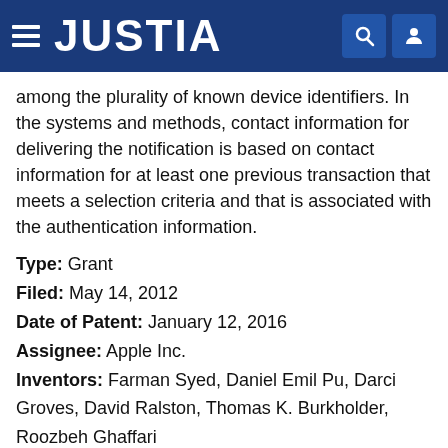JUSTIA
among the plurality of known device identifiers. In the systems and methods, contact information for delivering the notification is based on contact information for at least one previous transaction that meets a selection criteria and that is associated with the authentication information.
Type: Grant
Filed: May 14, 2012
Date of Patent: January 12, 2016
Assignee: Apple Inc.
Inventors: Farman Syed, Daniel Emil Pu, Darci Groves, David Ralston, Thomas K. Burkholder, Roozbeh Ghaffari
INTERFACE FOR ENHANCED CONTINUITY OF BROWSING EXPERIENCE
Publication number: 20130332311
Abstract: Providing an online store interface that